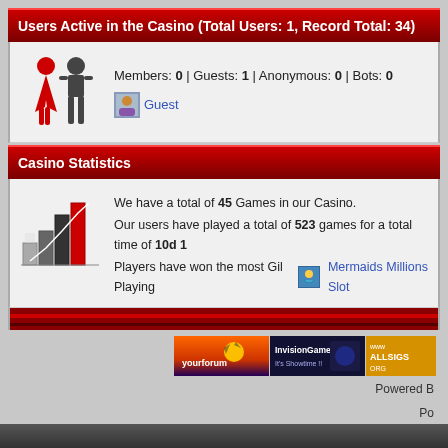Users Active in the Casino (Total Users: 1, Record Total: 34)
Members: 0 | Guests: 1 | Anonymous: 0 | Bots: 0
Guest
Casino Statistics
We have a total of 45 Games in our Casino. Our users have played a total of 523 games for a total time of 10d 1... Players have won the most Gil Playing Mermaids Millions Slot
[Figure (illustration): Pixel-art style bar chart with upward trend line, gray and red bars]
[Figure (illustration): Three banner ads: yourforum, InvisionGames, ALLSIGS]
Powered B
Po
Skin Desig